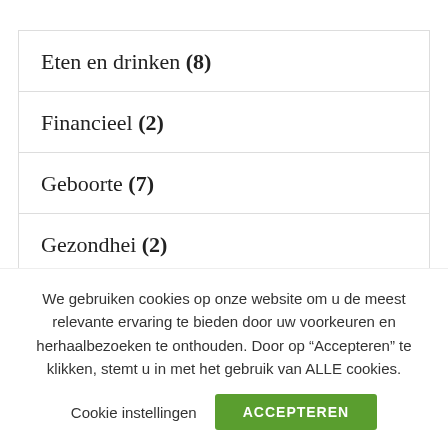Eten en drinken (8)
Financieel (2)
Geboorte (7)
Gezondhei (2)
We gebruiken cookies op onze website om u de meest relevante ervaring te bieden door uw voorkeuren en herhaalbezoeken te onthouden. Door op “Accepteren” te klikken, stemt u in met het gebruik van ALLE cookies.
Cookie instellingen    ACCEPTEREN